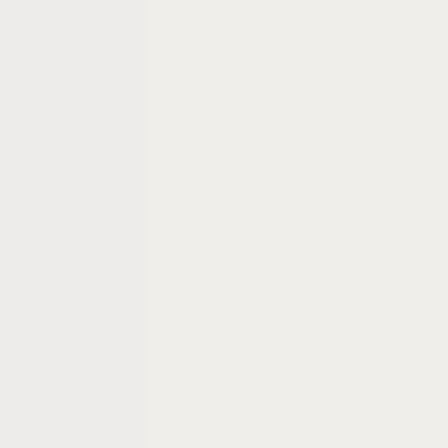direct CO2 electrolysis, but the hab will also have direct CO2 electrolysis for life support. Equipment